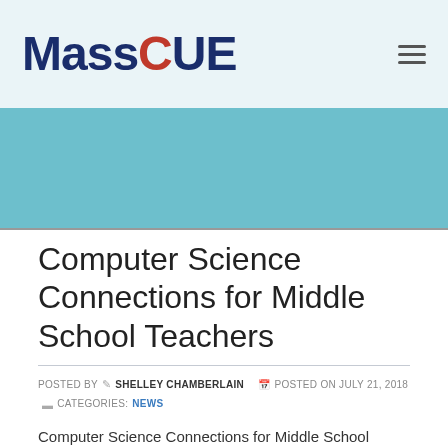MassCUE
[Figure (other): Teal/steel-blue banner image area]
Computer Science Connections for Middle School Teachers
POSTED BY  SHELLEY CHAMBERLAIN   POSTED ON JULY 21, 2018  CATEGORIES: NEWS
Computer Science Connections for Middle School Teachers (no charge)
A 4-day workshop and community of practice for New England...